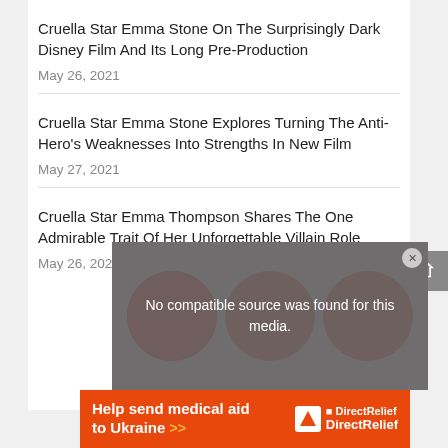Cruella Star Emma Stone On The Surprisingly Dark Disney Film And Its Long Pre-Production
May 26, 2021
Cruella Star Emma Stone Explores Turning The Anti-Hero’s Weaknesses Into Strengths In New Film
May 27, 2021
Cruella Star Emma Thompson Shares The One Admirable Trait Of Her Unforgettable Villain Role
May 26, 2021
[Figure (screenshot): Video player area showing 'No compatible source was found for this media.' message on a grey overlay background]
[Figure (infographic): Orange advertisement banner: 'Help send medical aid to Ukraine >>' with Direct Relief logo]